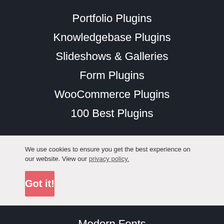Portfolio Plugins
Knowledgebase Plugins
Slideshows & Galleries
Form Plugins
WooCommerce Plugins
100 Best Plugins
We use cookies to ensure you get the best experience on our website. View our privacy policy.
Got it!
Modern Fonts
jQuery Gallery
Bootstrap UI Kits
Free Photos